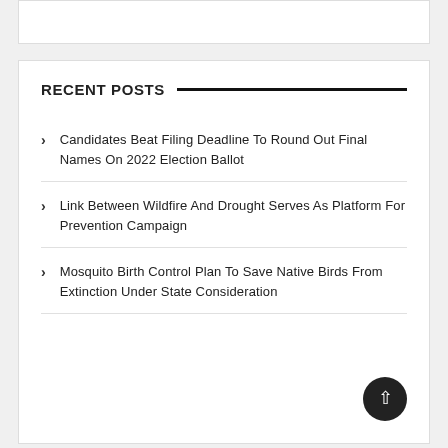RECENT POSTS
Candidates Beat Filing Deadline To Round Out Final Names On 2022 Election Ballot
Link Between Wildfire And Drought Serves As Platform For Prevention Campaign
Mosquito Birth Control Plan To Save Native Birds From Extinction Under State Consideration